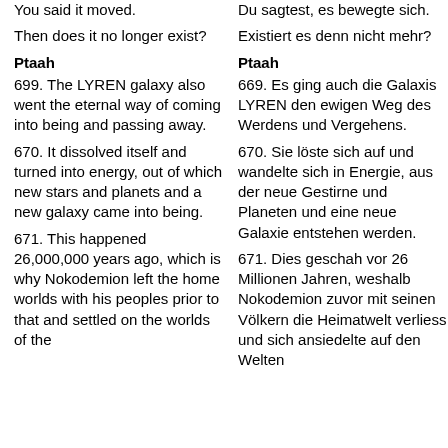You said it moved.
Du sagtest, es bewegte sich.
Then does it no longer exist?
Existiert es denn nicht mehr?
Ptaah
Ptaah
699. The LYREN galaxy also went the eternal way of coming into being and passing away.
669. Es ging auch die Galaxis LYREN den ewigen Weg des Werdens und Vergehens.
670. It dissolved itself and turned into energy, out of which new stars and planets and a new galaxy came into being.
670. Sie löste sich auf und wandelte sich in Energie, aus der neue Gestirne und Planeten und eine neue Galaxie entstehen werden.
671. This happened 26,000,000 years ago, which is why Nokodemion left the home worlds with his peoples prior to that and settled on the worlds of the
671. Dies geschah vor 26 Millionen Jahren, weshalb Nokodemion zuvor mit seinen Völkern die Heimatwelt verliess und sich ansiedelte auf den Welten